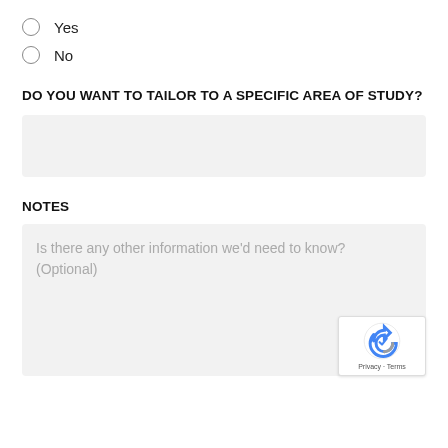Yes
No
DO YOU WANT TO TAILOR TO A SPECIFIC AREA OF STUDY?
NOTES
Is there any other information we'd need to know? (Optional)
[Figure (other): Google reCAPTCHA badge with privacy and terms links]